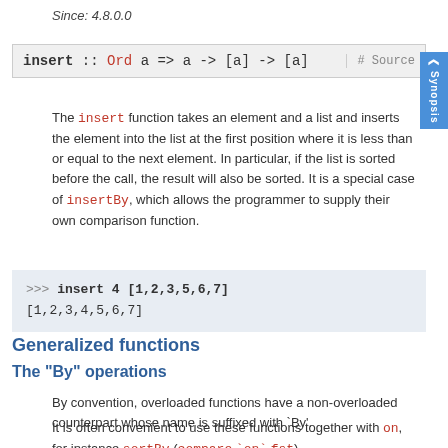Since: 4.8.0.0
insert :: Ord a => a -> [a] -> [a]  # Source
The insert function takes an element and a list and inserts the element into the list at the first position where it is less than or equal to the next element. In particular, if the list is sorted before the call, the result will also be sorted. It is a special case of insertBy, which allows the programmer to supply their own comparison function.
>>> insert 4 [1,2,3,5,6,7]
[1,2,3,4,5,6,7]
Generalized functions
The "By" operations
By convention, overloaded functions have a non-overloaded counterpart whose name is suffixed with `By'.
It is often convenient to use these functions together with on, for instance sortBy (compare `on` fst).